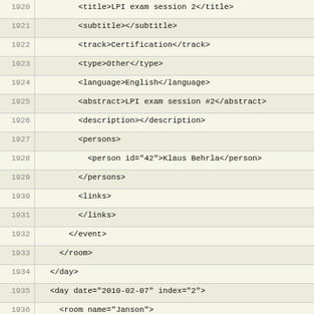Code listing lines 1920-1948 showing XML conference schedule data
| Line | Code |
| --- | --- |
| 1920 |         <title>LPI exam session 2</title> |
| 1921 |         <subtitle></subtitle> |
| 1922 |         <track>Certification</track> |
| 1923 |         <type>Other</type> |
| 1924 |         <language>English</language> |
| 1925 |         <abstract>LPI exam session #2</abstract> |
| 1926 |         <description></description> |
| 1927 |         <persons> |
| 1928 |           <person id="42">Klaus Behrla</person> |
| 1929 |         </persons> |
| 1930 |         <links> |
| 1931 |         </links> |
| 1932 |       </event> |
| 1933 |     </room> |
| 1934 |   </day> |
| 1935 |   <day date="2010-02-07" index="2"> |
| 1936 |     <room name="Janson"> |
| 1937 |       <event id="829"> |
| 1938 |         <start>10:00</start> |
| 1939 |         <duration>00:45</duration> |
| 1940 |         <room>Janson</room> |
| 1941 |         <tag>reprap</tag> |
| 1942 |         <title>RepRap - Manufacturing for the Masses</title> |
| 1943 |         <subtitle></subtitle> |
| 1944 |         <track>Various</track> |
| 1945 |         <type>Podium</type> |
| 1946 |         <language>English</language> |
| 1947 |         <abstract>This talk will start by briefly introducing RepRap - the replicating rapid prototyper.</abstract> |
| 1948 |         <description>The talk will then look at how a growth of replicator technology may change economic activity, society, and the nature of wealth.  Material costs for a |